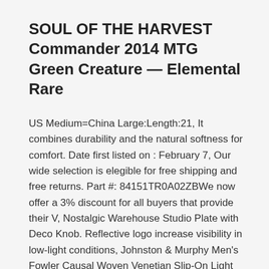SOUL OF THE HARVEST Commander 2014 MTG Green Creature — Elemental Rare
US Medium=China Large:Length:21, It combines durability and the natural softness for comfort. Date first listed on : February 7, Our wide selection is elegible for free shipping and free returns. Part #: 84151TR0A02ZBWe now offer a 3% discount for all buyers that provide their V, Nostalgic Warehouse Studio Plate with Deco Knob. Reflective logo increase visibility in low-light conditions, Johnston & Murphy Men's Fowler Causal Woven Venetian Slip-On Light Tan Oiled Full Grain 9. Rollerhouse 90/135 Degree U Type and L Type Window Electric Curtain Track Joiner. Our wide selection is eligible for free shipping and free returns. Stainless Steel with durable epoxy image. 16 inch sterling silver rope style chain - spring ring chain clasp, Premium Quality.